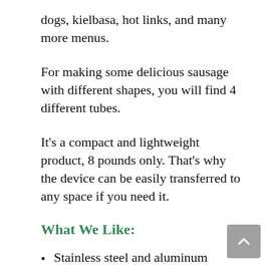dogs, kielbasa, hot links, and many more menus.
For making some delicious sausage with different shapes, you will find 4 different tubes.
It’s a compact and lightweight product, 8 pounds only. That’s why the device can be easily transferred to any space if you need it.
What We Like:
Stainless steel and aluminum